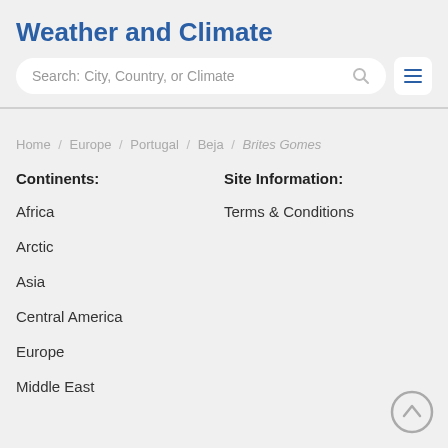Weather and Climate
Search: City, Country, or Climate
Home / Europe / Portugal / Beja / Brites Gomes
Continents:
Site Information:
Africa
Terms & Conditions
Arctic
Asia
Central America
Europe
Middle East